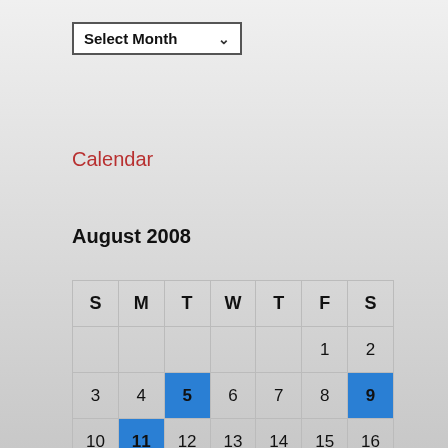[Figure (screenshot): Select Month dropdown control with down arrow]
Calendar
August 2008
| S | M | T | W | T | F | S |
| --- | --- | --- | --- | --- | --- | --- |
|  |  |  |  | 1 | 2 |
| 3 | 4 | 5 | 6 | 7 | 8 | 9 |
| 10 | 11 | 12 | 13 | 14 | 15 | 16 |
| 17 | 18 | 19 | 20 | 21 | 22 | 23 |
| 24 | 25 | 26 | 27 | 28 | 29 | 30 |